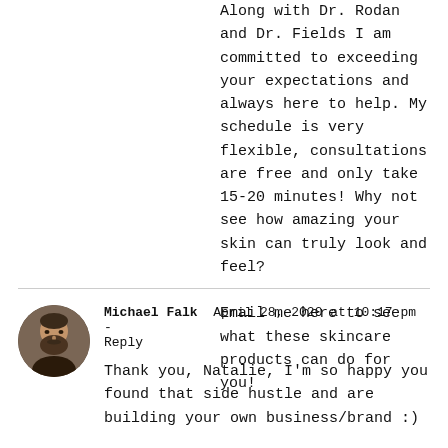Along with Dr. Rodan and Dr. Fields I am committed to exceeding your expectations and always here to help. My schedule is very flexible, consultations are free and only take 15-20 minutes! Why not see how amazing your skin can truly look and feel?

Email me here to see what these skincare products can do for you!
Michael Falk  April 28, 2020 at 10:17 pm - Reply

Thank you, Natalie, I'm so happy you found that side hustle and are building your own business/brand :)